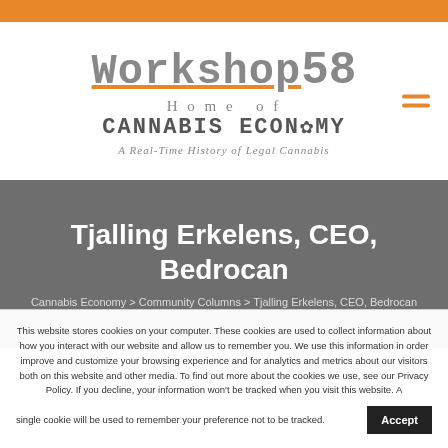Workshop58 — Home of Cannabis Economy — A Real-Time History of Legal Cannabis
Tjalling Erkelens, CEO, Bedrocan
Cannabis Economy > Community Columns > Tjalling Erkelens, CEO, Bedrocan
This website stores cookies on your computer. These cookies are used to collect information about how you interact with our website and allow us to remember you. We use this information in order improve and customize your browsing experience and for analytics and metrics about our visitors both on this website and other media. To find out more about the cookies we use, see our Privacy Policy. If you decline, your information won't be tracked when you visit this website. A single cookie will be used to remember your preference not to be tracked.